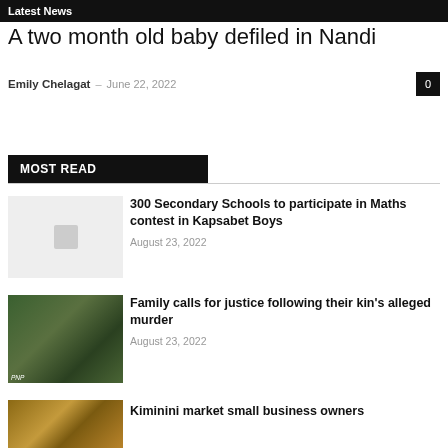Latest News
A two month old baby defiled in Nandi
Emily Chelagat – June 22, 2022
MOST READ
[Figure (photo): Placeholder image for 300 Secondary Schools article]
300 Secondary Schools to participate in Maths contest in Kapsabet Boys
August 23, 2022
[Figure (photo): Group of people seated at a gathering, related to family justice article]
Family calls for justice following their kin's alleged murder
August 23, 2022
[Figure (photo): Market scene related to Kiminini market article]
Kiminini market small business owners